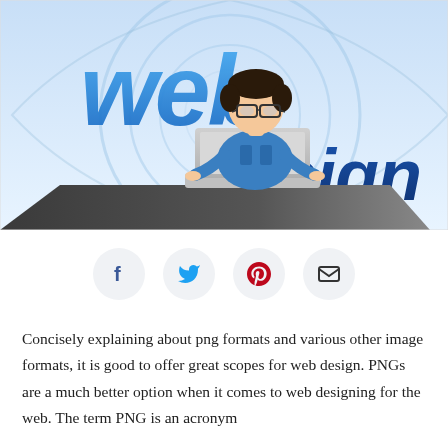[Figure (illustration): Web design illustration showing a cartoon man with glasses sitting at a desk using a laptop, with large stylized text 'web design' in blue on a light blue background with swirl patterns]
[Figure (infographic): Social sharing buttons row: Facebook (f), Twitter (bird), Pinterest (p), Email (envelope) — each in a light gray circle]
Concisely explaining about png formats and various other image formats, it is good to offer great scopes for web design. PNGs are a much better option when it comes to web designing for the web. The term PNG is an acronym